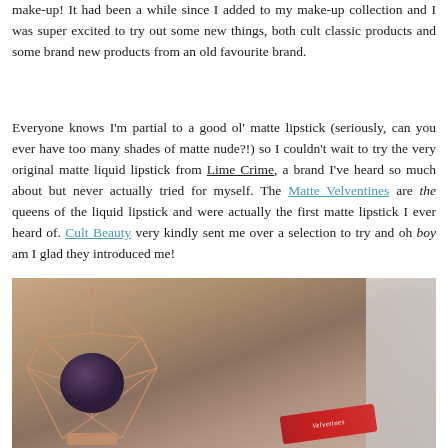make-up! It had been a while since I added to my make-up collection and I was super excited to try out some new things, both cult classic products and some brand new products from an old favourite brand.
Everyone knows I'm partial to a good ol' matte lipstick (seriously, can you ever have too many shades of matte nude?!) so I couldn't wait to try the very original matte liquid lipstick from Lime Crime, a brand I've heard so much about but never actually tried for myself. The Matte Velventines are the queens of the liquid lipstick and were actually the first matte lipstick I ever heard of. Cult Beauty very kindly sent me over a selection to try and oh boy am I glad they introduced me!
[Figure (photo): Photo showing beauty products on a wooden surface: a rose gold geometric wire/cage holder containing a dark purple makeup product, and a red Lime Crime Velvetines liquid lipstick tube, with white tissue paper in background.]